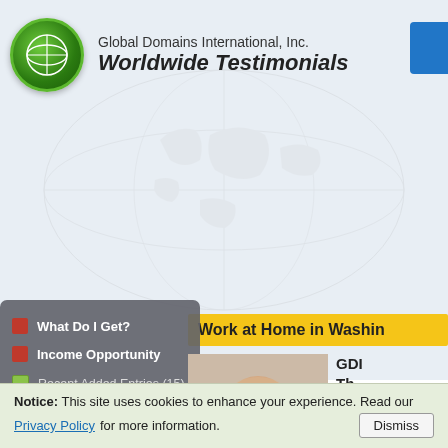Global Domains International, Inc. Worldwide Testimonials
[Figure (screenshot): Yellow banner partially visible reading: Work at Home in Washin...]
What Do I Get?
Income Opportunity
Recent Added Entries (15)
See All Entries (1659)
Sort People by US State
Alabama (12)
Alaska (1)
[Figure (photo): Headshot of a bald middle-aged man in a grey shirt]
GDI Th... An... Fo...
Dale... work... hom... Fede... Was... Unite...
Notice: This site uses cookies to enhance your experience. Read our Privacy Policy for more information. Dismiss